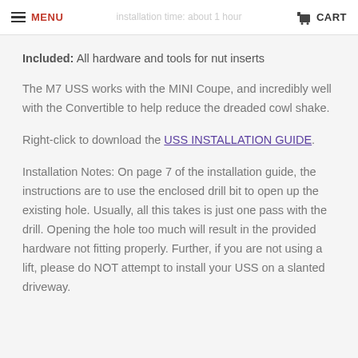MENU  CART  installation time: about 1 hour
Included: All hardware and tools for nut inserts
The M7 USS works with the MINI Coupe, and incredibly well with the Convertible to help reduce the dreaded cowl shake.
Right-click to download the USS INSTALLATION GUIDE.
Installation Notes: On page 7 of the installation guide, the instructions are to use the enclosed drill bit to open up the existing hole. Usually, all this takes is just one pass with the drill. Opening the hole too much will result in the provided hardware not fitting properly. Further, if you are not using a lift, please do NOT attempt to install your USS on a slanted driveway.